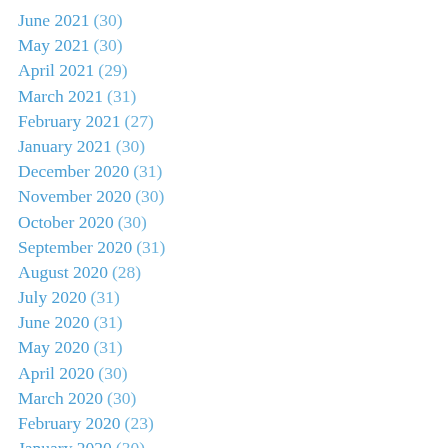June 2021 (30)
May 2021 (30)
April 2021 (29)
March 2021 (31)
February 2021 (27)
January 2021 (30)
December 2020 (31)
November 2020 (30)
October 2020 (30)
September 2020 (31)
August 2020 (28)
July 2020 (31)
June 2020 (31)
May 2020 (31)
April 2020 (30)
March 2020 (30)
February 2020 (23)
January 2020 (30)
December 2019 (30)
November 2019 (27)